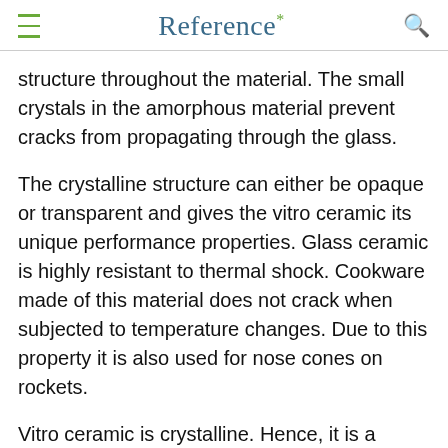Reference*
structure throughout the material. The small crystals in the amorphous material prevent cracks from propagating through the glass.
The crystalline structure can either be opaque or transparent and gives the vitro ceramic its unique performance properties. Glass ceramic is highly resistant to thermal shock. Cookware made of this material does not crack when subjected to temperature changes. Due to this property it is also used for nose cones on rockets.
Vitro ceramic is crystalline. Hence, it is a better